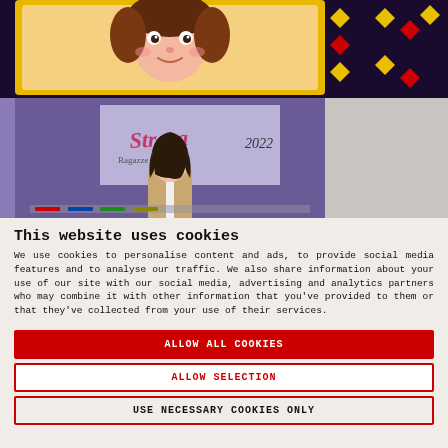[Figure (photo): Two photos stacked: top portion shows a colorful illustrated cartoon character (young girl) inside a yellow frame on a dark background with diamond patterns in red and black. Bottom portion shows a real photo of a young woman with dark hair standing in front of a projected logo reading 'Strega Ragazze e Ragazzi 2022'.]
This website uses cookies
We use cookies to personalise content and ads, to provide social media features and to analyse our traffic. We also share information about your use of our site with our social media, advertising and analytics partners who may combine it with other information that you've provided to them or that they've collected from your use of their services.
ALLOW ALL COOKIES
ALLOW SELECTION
USE NECESSARY COOKIES ONLY